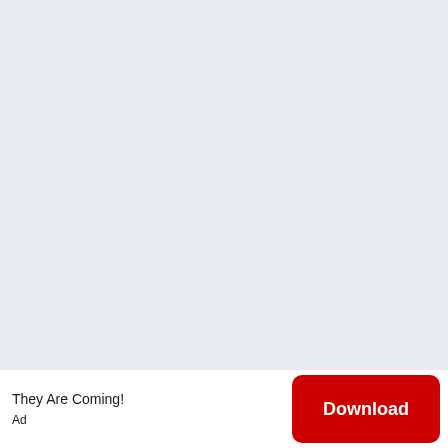[Figure (other): Large light grey/blue-grey blank area filling the upper portion of the page, serving as a background or placeholder image area.]
They Are Coming!
Ad
Download